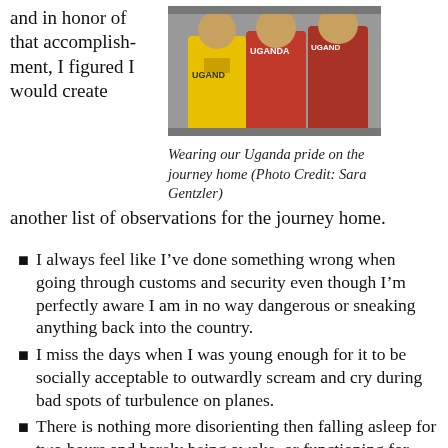and in honor of that accomplishment, I figured I would create another list of observations for the journey home.
[Figure (photo): Three people wearing Uganda jerseys (yellow and red) posing together, taken on the journey home.]
Wearing our Uganda pride on the journey home (Photo Credit: Sara Gentzler)
I always feel like I’ve done something wrong when going through customs and security even though I’m perfectly aware I am in no way dangerous or sneaking anything back into the country.
I miss the days when I was young enough for it to be socially acceptable to outwardly scream and cry during bad spots of turbulence on planes.
There is nothing more disorienting then falling asleep for two hours and barely being awake, or functioning for that matter, for the flight attendant to hand you the weird globes of water. Where Am I